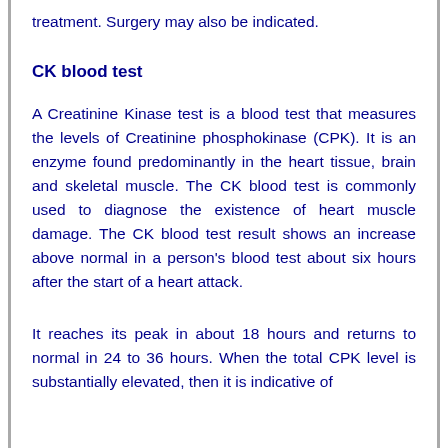treatment. Surgery may also be indicated.
CK blood test
A Creatinine Kinase test is a blood test that measures the levels of Creatinine phosphokinase (CPK). It is an enzyme found predominantly in the heart tissue, brain and skeletal muscle. The CK blood test is commonly used to diagnose the existence of heart muscle damage. The CK blood test result shows an increase above normal in a person's blood test about six hours after the start of a heart attack.
It reaches its peak in about 18 hours and returns to normal in 24 to 36 hours. When the total CPK level is substantially elevated, then it is indicative of